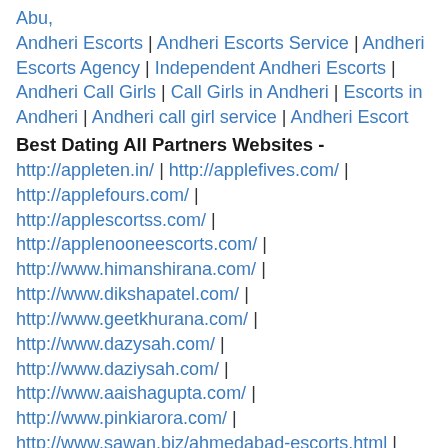Abu, Andheri Escorts | Andheri Escorts Service | Andheri Escorts Agency | Independent Andheri Escorts | Andheri Call Girls | Call Girls in Andheri | Escorts in Andheri | Andheri call girl service | Andheri Escort
Best Dating All Partners Websites - http://appleten.in/ | http://applefives.com/ | http://applefours.com/ | http://applescortss.com/ | http://applenooneescorts.com/ | http://www.himanshirana.com/ | http://www.dikshapatel.com/ | http://www.geetkhurana.com/ | http://www.dazysah.com/ | http://www.daziysah.com/ | http://www.aaishagupta.com/ | http://www.pinkiarora.com/ | http://www.sawan.biz/ahmedabad-escorts.html | http://www.aaishagupta.in/ | http://www.nehagaur.in/ |